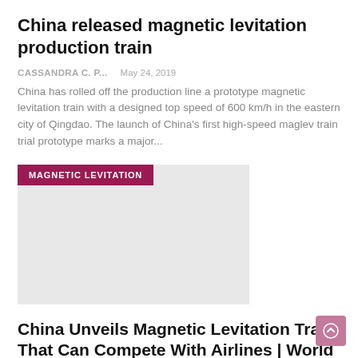China released magnetic levitation production train
CASSANDRA C. P...   May 24, 2019
China has rolled off the production line a prototype magnetic levitation train with a designed top speed of 600 km/h in the eastern city of Qingdao. The launch of China's first high-speed maglev train trial prototype marks a major...
[Figure (photo): Image placeholder with 'MAGNETIC LEVITATION' badge in dark pink/maroon color overlaid on top-left of a light gray image block]
China Unveils Magnetic Levitation Train That Can Compete With Airlines | World news
CASSANDRA C. P...   May 24, 2019   0
China has unveiled a prototype magnetic levitation train with an expected top speed of 600 km / h, which its manufacturers say could be major competition for the airline industry.The train designed and